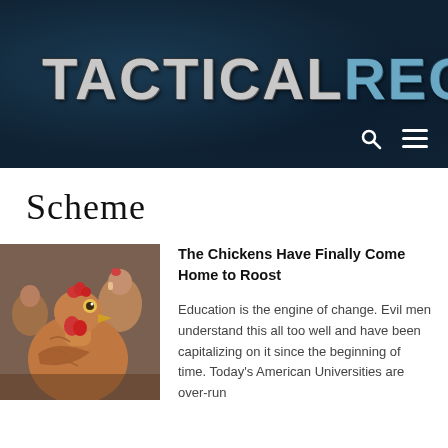TACTICALRECON
Scheme
[Figure (photo): Close-up photo of chickens, with a brown hen in the foreground facing the camera and other chickens visible behind it.]
The Chickens Have Finally Come Home to Roost
Education is the engine of change. Evil men understand this all too well and have been capitalizing on it since the beginning of time. Today's American Universities are over-run